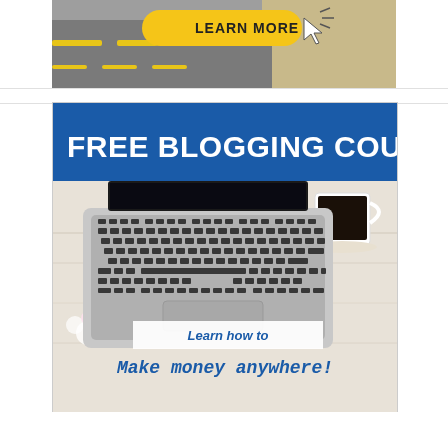[Figure (infographic): Top banner with road background and yellow 'LEARN MORE' button with cursor icon]
[Figure (infographic): Free Blogging Course advertisement banner with blue header bar reading 'FREE BLOGGING COURSE', photo of laptop with coffee cup on wooden desk, white box with text 'Learn how to' and script text 'Make money anywhere!']